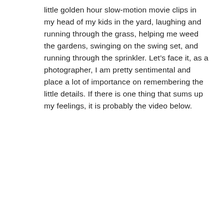little golden hour slow-motion movie clips in my head of my kids in the yard, laughing and running through the grass, helping me weed the gardens, swinging on the swing set, and running through the sprinkler. Let’s face it, as a photographer, I am pretty sentimental and place a lot of importance on remembering the little details. If there is one thing that sums up my feelings, it is probably the video below.